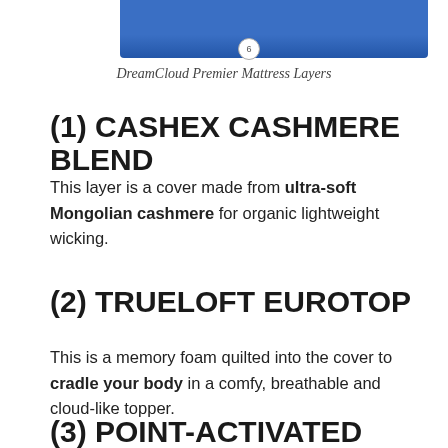[Figure (illustration): Top portion of a layered mattress diagram showing a blue layer labeled 6, part of DreamCloud Premier Mattress Layers illustration]
DreamCloud Premier Mattress Layers
(1) CASHEX CASHMERE BLEND
This layer is a cover made from ultra-soft Mongolian cashmere for organic lightweight wicking.
(2) TRUELOFT EUROTOP
This is a memory foam quilted into the cover to cradle your body in a comfy, breathable and cloud-like topper.
(3) POINT-ACTIVATED FOAM